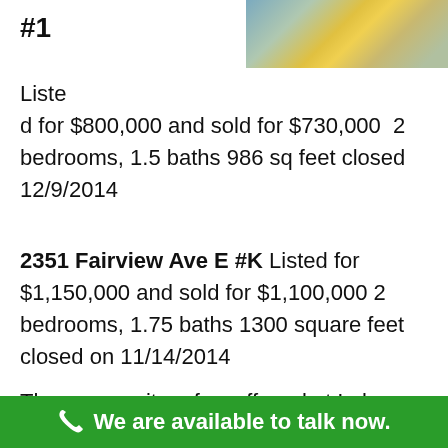[Figure (photo): Photo of boats/kayaks on water, partially visible at top right of page]
#1
Listed for $800,000 and sold for $730,000  2 bedrooms, 1.5 baths 986 sq feet closed 12/9/2014
2351 Fairview Ave E #K Listed for $1,150,000 and sold for $1,100,000 2 bedrooms, 1.75 baths 1300 square feet closed on 11/14/2014
There are quite a few off market Lake Union
We are available to talk now.